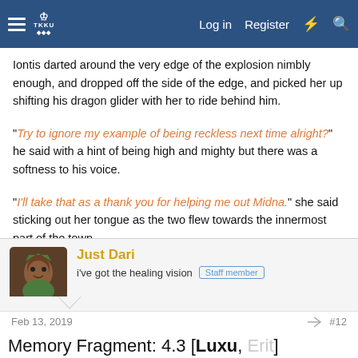Navigation bar with hamburger menu, logo, Log in, Register, and icons
Iontis darted around the very edge of the explosion nimbly enough, and dropped off the side of the edge, and picked her up shifting his dragon glider with her to ride behind him.
"Try to ignore my example of being reckless next time alright?" he said with a hint of being high and mighty but there was a softness to his voice.
"I'll take that as a thank you for helping me out Midna." she said sticking out her tongue as the two flew towards the innermost part of the town.
Just Dari
i've got the healing vision   Staff member
Feb 13, 2019   #12
Memory Fragment: 4.3 [Luxu, Erit]